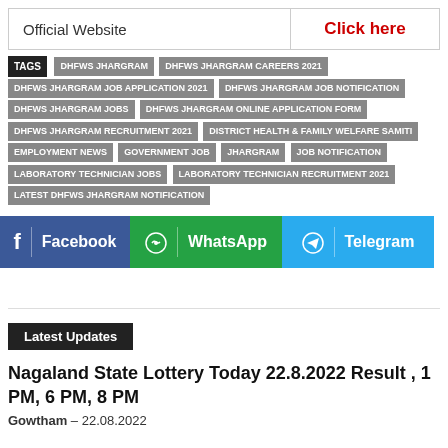| Official Website | Click here |
| --- | --- |
TAGS  DHFWS JHARGRAM  DHFWS JHARGRAM CAREERS 2021  DHFWS JHARGRAM JOB APPLICATION 2021  DHFWS JHARGRAM JOB NOTIFICATION  DHFWS JHARGRAM JOBS  DHFWS JHARGRAM ONLINE APPLICATION FORM  DHFWS JHARGRAM RECRUITMENT 2021  DISTRICT HEALTH & FAMILY WELFARE SAMITI  EMPLOYMENT NEWS  GOVERNMENT JOB  JHARGRAM  JOB NOTIFICATION  LABORATORY TECHNICIAN JOBS  LABORATORY TECHNICIAN RECRUITMENT 2021  LATEST DHFWS JHARGRAM NOTIFICATION
[Figure (infographic): Social share buttons: Facebook (blue), WhatsApp (green), Telegram (light blue)]
Latest Updates
Nagaland State Lottery Today 22.8.2022 Result , 1 PM, 6 PM, 8 PM
Gowtham  -  22.08.2022